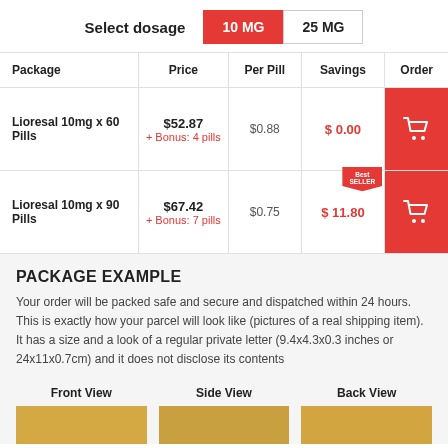Select dosage  10 MG  25 MG
| Package | Price | Per Pill | Savings | Order |
| --- | --- | --- | --- | --- |
| Lioresal 10mg x 60 Pills | $52.87 + Bonus: 4 pills | $0.88 | $ 0.00 |  |
| Lioresal 10mg x 90 Pills | $67.42 + Bonus: 7 pills | $0.75 | $ 11.80 |  |
PACKAGE EXAMPLE
Your order will be packed safe and secure and dispatched within 24 hours. This is exactly how your parcel will look like (pictures of a real shipping item). It has a size and a look of a regular private letter (9.4x4.3x0.3 inches or 24x11x0.7cm) and it does not disclose its contents
Front View  Side View  Back View
[Figure (photo): Three package views: Front View, Side View, Back View showing a golden/yellow shipping envelope]